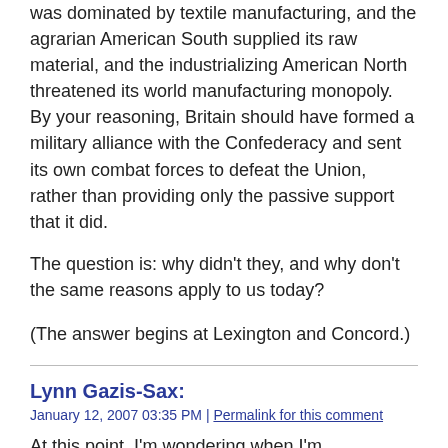was dominated by textile manufacturing, and the agrarian American South supplied its raw material, and the industrializing American North threatened its world manufacturing monopoly. By your reasoning, Britain should have formed a military alliance with the Confederacy and sent its own combat forces to defeat the Union, rather than providing only the passive support that it did.
The question is: why didn't they, and why don't the same reasons apply to us today?
(The answer begins at Lexington and Concord.)
Lynn Gazis-Sax:
January 12, 2007 03:35 PM | Permalink for this comment
At this point, I'm wondering when I'm